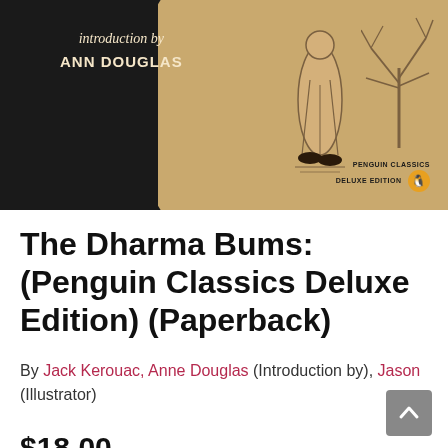[Figure (illustration): Book cover of The Dharma Bums Penguin Classics Deluxe Edition, showing a dark black left portion with italic handwritten-style text 'introduction by ANN DOUGLAS', and a tan/beige right portion with a simplified figure in robes and a bare tree, plus a Penguin Classics Deluxe Edition badge with penguin logo in the bottom right corner.]
The Dharma Bums: (Penguin Classics Deluxe Edition) (Paperback)
By Jack Kerouac, Anne Douglas (Introduction by), Jason (Illustrator)
$18.00
On Our Shelves Now